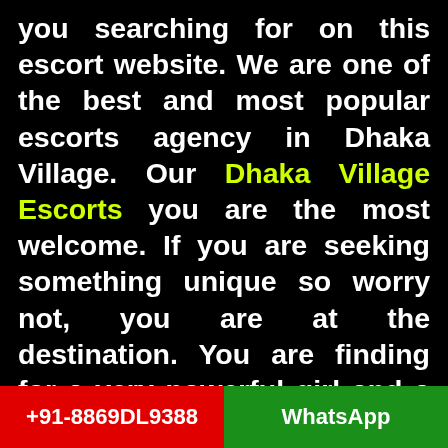you searching for on this escort website. We are one of the best and most popular escorts agency in Dhaka Village. Our Dhaka Village Escorts you are the most welcome. If you are seeking something unique so worry not, you are at the destination. You are finding for a very powerful girl and a female companion. We know every people want the most gorgeous, talented, and sexy girls during intercourse time. If you have also this type of fantasy and you also want to make your desires come true. So our call girls are the best escorts provider and adult
+91-8869DL9388    WhatsApp